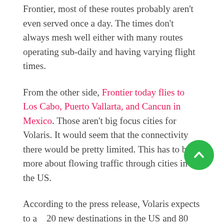Frontier, most of these routes probably aren't even served once a day. The times don't always mesh well either with many routes operating sub-daily and having varying flight times.
From the other side, Frontier today flies to Los Cabo, Puerto Vallarta, and Cancun in Mexico. Those aren't big focus cities for Volaris. It would seem that the connectivity there would be pretty limited. This has to be more about flowing traffic through cities in the US.
According to the press release, Volaris expects to add 20 new destinations in the US and 80 new routes. I wonder how many of those can even be flown in both directions. I also wonder how many days of the week they're even possible.